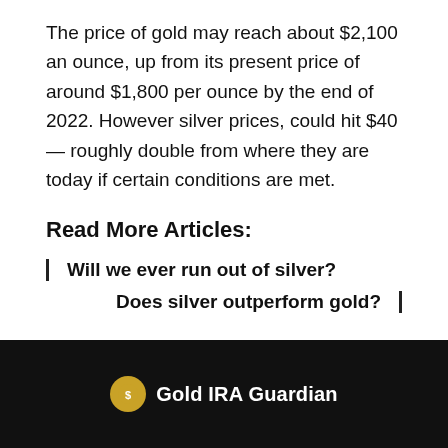The price of gold may reach about $2,100 an ounce, up from its present price of around $1,800 per ounce by the end of 2022. However silver prices, could hit $40 — roughly double from where they are today if certain conditions are met.
Read More Articles:
Will we ever run out of silver?
Does silver outperform gold?
Gold IRA Guardian